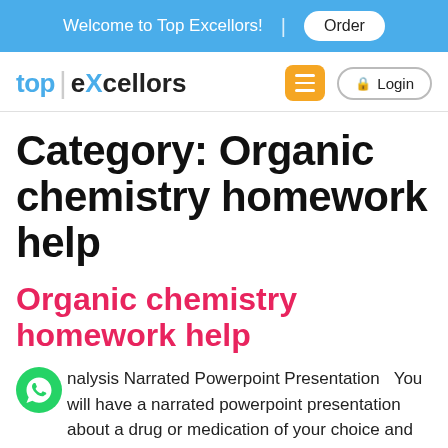Welcome to Top Excellors! | Order
[Figure (logo): Top Excellors logo with navigation bar including hamburger menu and Login button]
Category: Organic chemistry homework help
Organic chemistry homework help
nalysis Narrated Powerpoint Presentation  You will have a narrated powerpoint presentation about a drug or medication of your choice and upload it to Blackboard.  You